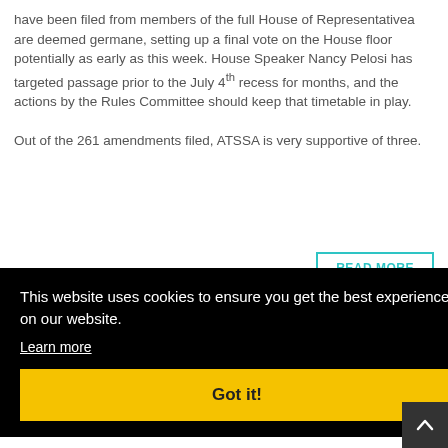have been filed from members of the full House of Representativea are deemed germane, setting up a final vote on the House floor potentially as early as this week. House Speaker Nancy Pelosi has targeted passage prior to the July 4th recess for months, and the actions by the Rules Committee should keep that timetable in play.

Out of the 261 amendments filed, ATSSA is very supportive of three.
READ MORE
This website uses cookies to ensure you get the best experience on our website.
Learn more
Got it!
RSS
14